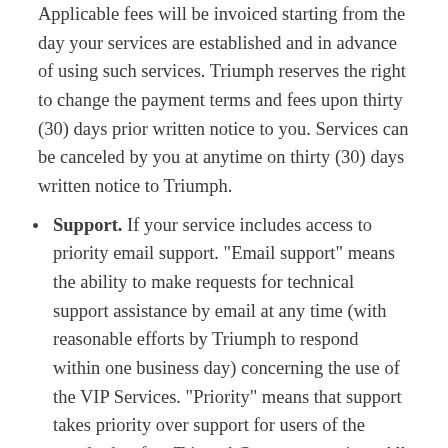Applicable fees will be invoiced starting from the day your services are established and in advance of using such services. Triumph reserves the right to change the payment terms and fees upon thirty (30) days prior written notice to you. Services can be canceled by you at anytime on thirty (30) days written notice to Triumph.
Support. If your service includes access to priority email support. "Email support" means the ability to make requests for technical support assistance by email at any time (with reasonable efforts by Triumph to respond within one business day) concerning the use of the VIP Services. "Priority" means that support takes priority over support for users of the standard or free TriumphCom.com services. All support will be provided in accordance with